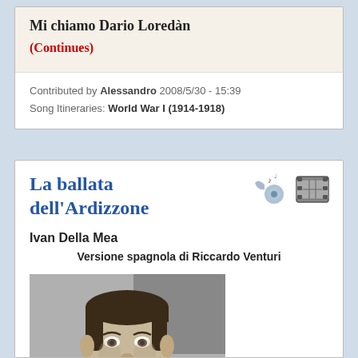Mi chiamo Dario Loredàn
(Continues)
Contributed by Alessandro 2008/5/30 - 15:39
Song Itineraries: World War I (1914-1918)
La ballata dell'Ardizzone
Ivan Della Mea
Versione spagnola di Riccardo Venturi
[Figure (photo): Black and white portrait photo of a young man in a suit and tie]